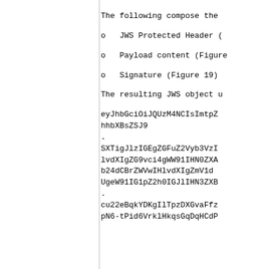The following compose the
o   JWS Protected Header (
o   Payload content (Figure
o   Signature (Figure 19)
The resulting JWS object u
eyJhbGciOiJQUzM4NCIsImtpZ
hhbXBsZSJ9
.
SXTigJlzIGEgZGFuZ2Vyb3VzI
lvdXIgZG9vci4gWW91IHN0ZXA
b24dCBrZWVwIHlvdXIgZmV1d
UgeW91IG1pZ2h0IGJlIHN3ZXB
.
cu22eBqkYDKgIlTpzDXGvaFfz
pN6-tPid6VrklHkqsGqDqHCdP